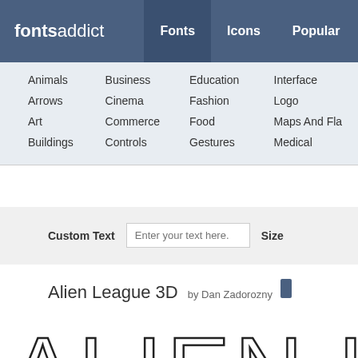fontsaddict — Fonts  Icons  Popular
Animals
Arrows
Art
Buildings
Business
Cinema
Commerce
Controls
Education
Fashion
Food
Gestures
Interface
Logo
Maps And Flags
Medical
Custom Text  Enter your text here.  Size
Alien League 3D by Dan Zadorozny
[Figure (other): Large font preview showing 'ALIEN LE' in Alien League 3D font — tall outlined letters with no fill, black stroke on white background]